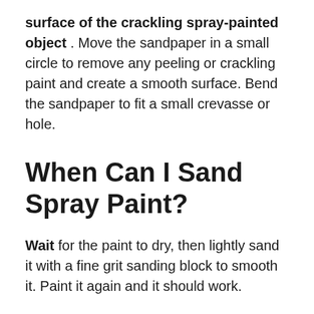surface of the crackling spray-painted object. Move the sandpaper in a small circle to remove any peeling or crackling paint and create a smooth surface. Bend the sandpaper to fit a small crevasse or hole.
When Can I Sand Spray Paint?
Wait for the paint to dry, then lightly sand it with a fine grit sanding block to smooth it. Paint it again and it should work.
Does Spray Paint Dry Better